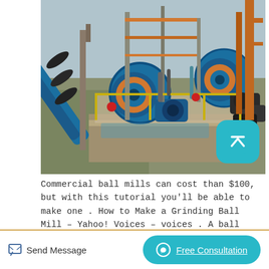[Figure (photo): Aerial view of an industrial mining facility with large blue ball mills, motors, conveyors, and metal scaffolding structures. The machines are painted bright blue with rust-colored structural steel and concrete platforms visible.]
Commercial ball mills can cost than $100, but with this tutorial you'll be able to make one . How to Make a Grinding Ball Mill – Yahoo! Voices – voices . A ball mill is a tool needed for grinding certain chemicals and art materials to
Send Message   Free Consultation